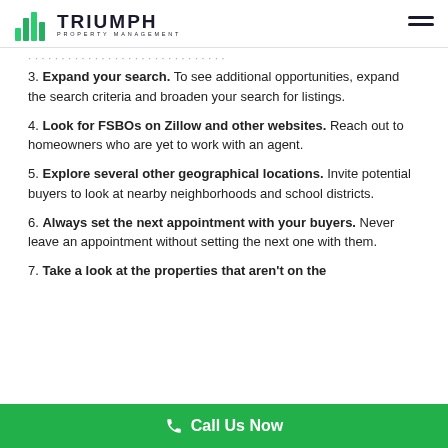TRIUMPH PROPERTY MANAGEMENT
3. Expand your search. To see additional opportunities, expand the search criteria and broaden your search for listings.
4. Look for FSBOs on Zillow and other websites. Reach out to homeowners who are yet to work with an agent.
5. Explore several other geographical locations. Invite potential buyers to look at nearby neighborhoods and school districts.
6. Always set the next appointment with your buyers. Never leave an appointment without setting the next one with them.
7. Take a look at the properties that aren't on the market yet.
Call Us Now